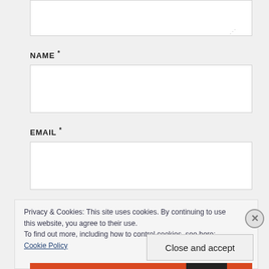NAME *
EMAIL *
Privacy & Cookies: This site uses cookies. By continuing to use this website, you agree to their use.
To find out more, including how to control cookies, see here:
Cookie Policy
Close and accept